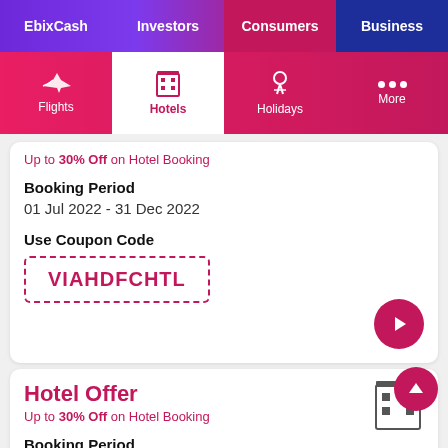EbixCash | Investors | Consumers | Business
Flights | Hotels | Holidays | More
Up to 30% Off on Hotel Booking
Booking Period
01 Jul 2022 - 31 Dec 2022
Use Coupon Code
VIAHDFCHTL
Hotel Offer
Up to 30% Off on Hotel Booking
Booking Period